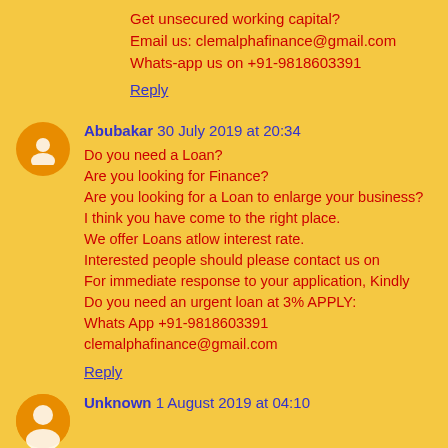Get unsecured working capital?
Email us: clemalphafinance@gmail.com
Whats-app us on +91-9818603391
Reply
Abubakar 30 July 2019 at 20:34
Do you need a Loan?
Are you looking for Finance?
Are you looking for a Loan to enlarge your business?
I think you have come to the right place.
We offer Loans atlow interest rate.
Interested people should please contact us on
For immediate response to your application, Kindly
Do you need an urgent loan at 3% APPLY:
Whats App +91-9818603391
clemalphafinance@gmail.com
Reply
Unknown 1 August 2019 at 04:10